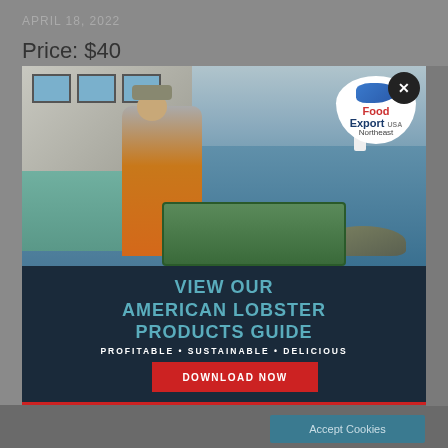APRIL 18, 2022
Price: $40
[Figure (photo): A fisherman in orange overalls leaning over the side of a boat to work with lobster traps in the water. A lighthouse and rocky coastline are visible in the background. The Food Export USA Northeast logo is overlaid in the upper right corner of the photo.]
VIEW OUR AMERICAN LOBSTER PRODUCTS GUIDE
PROFITABLE • SUSTAINABLE • DELICIOUS
DOWNLOAD NOW
Accept Cookies